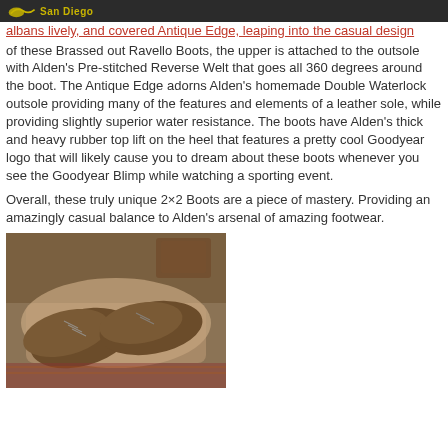San Diego (logo area)
albans lively, and covered Antique Edge, leaping into the casual design of these Brassed out Ravello Boots, the upper is attached to the outsole with Alden's Pre-stitched Reverse Welt that goes all 360 degrees around the boot. The Antique Edge adorns Alden's homemade Double Waterlock outsole providing many of the features and elements of a leather sole, while providing slightly superior water resistance. The boots have Alden's thick and heavy rubber top lift on the heel that features a pretty cool Goodyear logo that will likely cause you to dream about these boots whenever you see the Goodyear Blimp while watching a sporting event.
Overall, these truly unique 2×2 Boots are a piece of mastery. Providing an amazingly casual balance to Alden's arsenal of amazing footwear.
[Figure (photo): Photo of a pair of tan/brassed leather Alden boots (Ravello Brassed Out) placed on a light surface with a patterned rug visible in the background.]